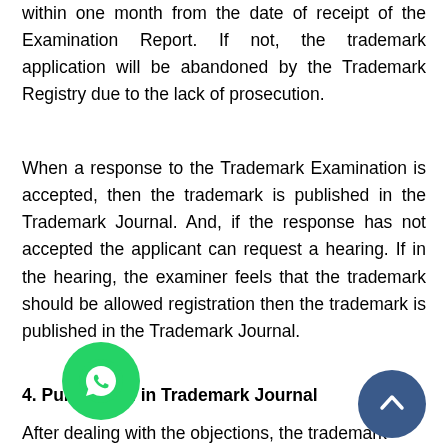within one month from the date of receipt of the Examination Report. If not, the trademark application will be abandoned by the Trademark Registry due to the lack of prosecution.
When a response to the Trademark Examination is accepted, then the trademark is published in the Trademark Journal. And, if the response has not accepted the applicant can request a hearing. If in the hearing, the examiner feels that the trademark should be allowed registration then the trademark is published in the Trademark Journal.
4. Publication in Trademark Journal
After dealing with the objections, the trademark